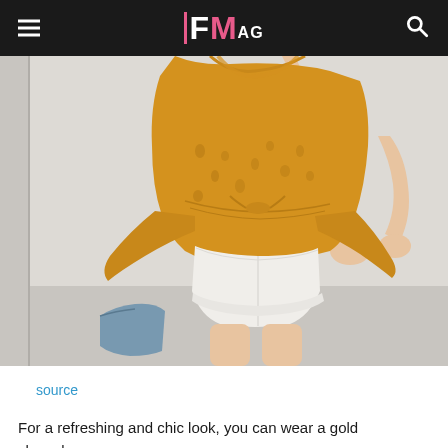FM AG
[Figure (photo): A woman wearing a mustard/gold sleeveless lace eyelet peplum top and white shorts, holding what appears to be a blue bag, photographed from neck to thigh against a light gray background.]
source
For a refreshing and chic look, you can wear a gold sleeveless